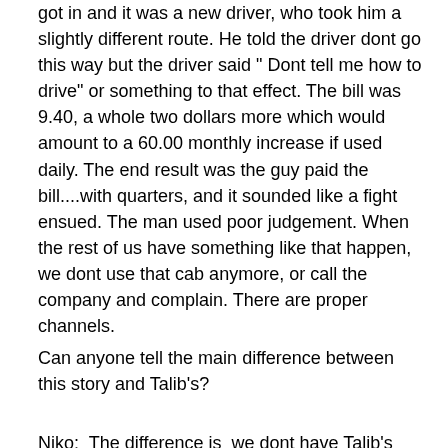got in and it was a new driver, who took him a slightly different route. He told the driver dont go this way but the driver said " Dont tell me how to drive" or something to that effect. The bill was 9.40, a whole two dollars more which would amount to a 60.00 monthly increase if used daily. The end result was the guy paid the bill....with quarters, and it sounded like a fight ensued. The man used poor judgement. When the rest of us have something like that happen, we dont use that cab anymore, or call the company and complain. There are proper channels.
Can anyone tell the main difference between this story and Talib's?
Niko:  The difference is  we dont have Talib's story. We